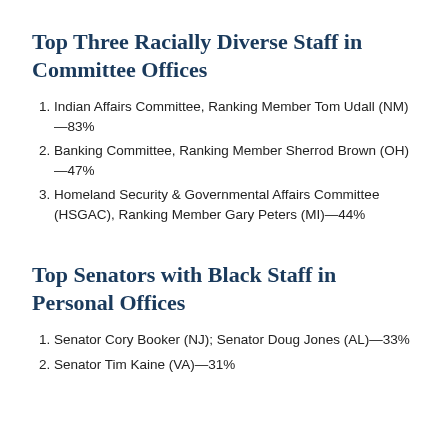Top Three Racially Diverse Staff in Committee Offices
Indian Affairs Committee, Ranking Member Tom Udall (NM)—83%
Banking Committee, Ranking Member Sherrod Brown (OH)—47%
Homeland Security & Governmental Affairs Committee (HSGAC), Ranking Member Gary Peters (MI)—44%
Top Senators with Black Staff in Personal Offices
Senator Cory Booker (NJ); Senator Doug Jones (AL)—33%
Senator Tim Kaine (VA)—31%